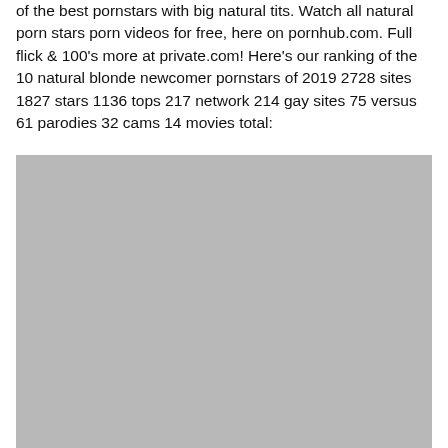of the best pornstars with big natural tits. Watch all natural porn stars porn videos for free, here on pornhub.com. Full flick & 100's more at private.com! Here's our ranking of the 10 natural blonde newcomer pornstars of 2019 2728 sites 1827 stars 1136 tops 217 network 214 gay sites 75 versus 61 parodies 32 cams 14 movies total:
[Figure (photo): A large grey placeholder image block occupying the lower portion of the page.]